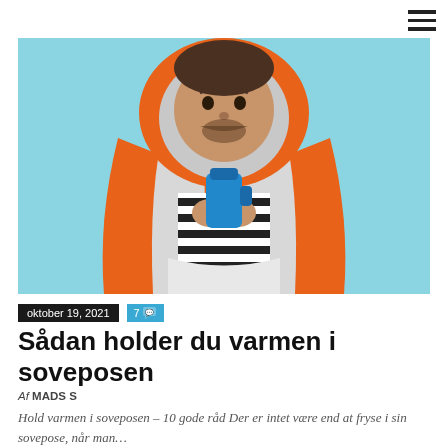[Figure (photo): Man wrapped in an orange sleeping bag holding a blue thermos, against a light blue background]
oktober 19, 2021   7 💬
Sådan holder du varmen i soveposen
Af MADS S
Hold varmen i soveposen – 10 gode råd Der er intet være end at fryse i sin sovepose, når man…